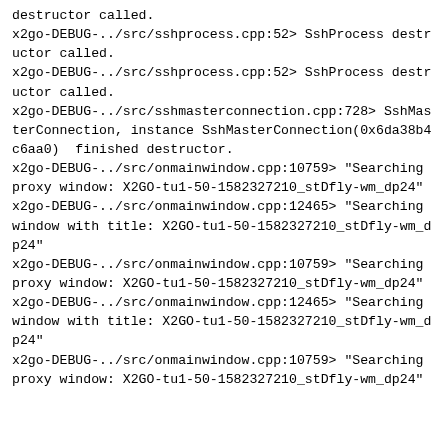destructor called.
x2go-DEBUG-../src/sshprocess.cpp:52> SshProcess destructor called.
x2go-DEBUG-../src/sshprocess.cpp:52> SshProcess destructor called.
x2go-DEBUG-../src/sshmasterconnection.cpp:728> SshMasterConnection, instance SshMasterConnection(0x6da38b4c6aa0)  finished destructor.
x2go-DEBUG-../src/onmainwindow.cpp:10759> "Searching proxy window: X2GO-tu1-50-1582327210_stDfly-wm_dp24"
x2go-DEBUG-../src/onmainwindow.cpp:12465> "Searching window with title: X2GO-tu1-50-1582327210_stDfly-wm_dp24"
x2go-DEBUG-../src/onmainwindow.cpp:10759> "Searching proxy window: X2GO-tu1-50-1582327210_stDfly-wm_dp24"
x2go-DEBUG-../src/onmainwindow.cpp:12465> "Searching window with title: X2GO-tu1-50-1582327210_stDfly-wm_dp24"
x2go-DEBUG-../src/onmainwindow.cpp:10759> "Searching proxy window: X2GO-tu1-50-1582327210_stDfly-wm_dp24"